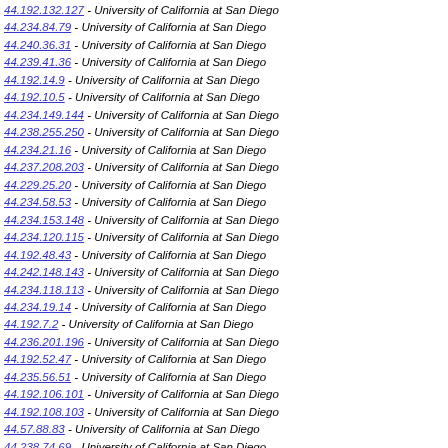44.192.132.127 - University of California at San Diego
44.234.84.79 - University of California at San Diego
44.240.36.31 - University of California at San Diego
44.239.41.36 - University of California at San Diego
44.192.14.9 - University of California at San Diego
44.192.10.5 - University of California at San Diego
44.234.149.144 - University of California at San Diego
44.238.255.250 - University of California at San Diego
44.234.21.16 - University of California at San Diego
44.237.208.203 - University of California at San Diego
44.229.25.20 - University of California at San Diego
44.234.58.53 - University of California at San Diego
44.234.153.148 - University of California at San Diego
44.234.120.115 - University of California at San Diego
44.192.48.43 - University of California at San Diego
44.242.148.143 - University of California at San Diego
44.234.118.113 - University of California at San Diego
44.234.19.14 - University of California at San Diego
44.192.7.2 - University of California at San Diego
44.236.201.196 - University of California at San Diego
44.192.52.47 - University of California at San Diego
44.235.56.51 - University of California at San Diego
44.192.106.101 - University of California at San Diego
44.192.108.103 - University of California at San Diego
44.57.88.83 - University of California at San Diego
44.238.74.69 - University of California at San Diego
44.241.61.56 - University of California at San Diego
44.227.133.128 - University of California at San Diego
44.240.15.10 - University of California at San Diego
44.234.138.133 - University of California at San Diego